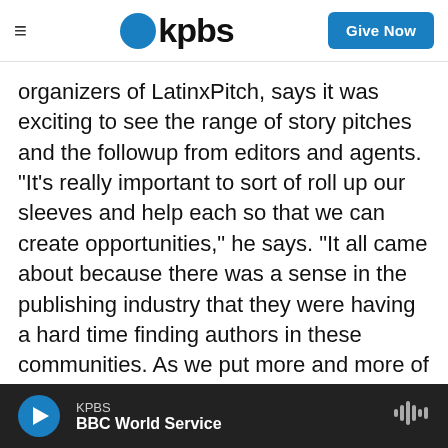kpbs | Give Now
organizers of LatinxPitch, says it was exciting to see the range of story pitches and the followup from editors and agents. "It's really important to sort of roll up our sleeves and help each so that we can create opportunities," he says. "It all came about because there was a sense in the publishing industry that they were having a hard time finding authors in these communities. As we put more and more of these events on, you can't have that excuse anymore, right? Like, here we are."
Lacera was born in Colombia and came to the U.S. as a baby. He grew up in Miami reading American
KPBS | BBC World Service